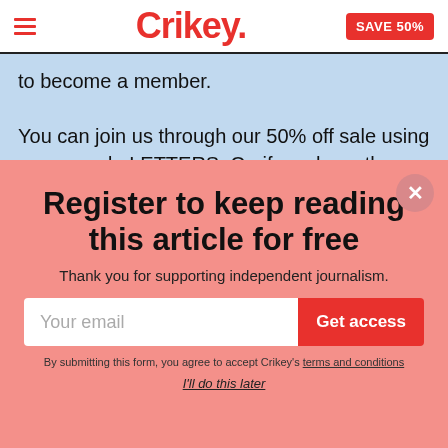Crikey. SAVE 50%
to become a member.

You can join us through our 50% off sale using promo code LETTERS. Or, if you have the
Register to keep reading this article for free
Thank you for supporting independent journalism.
Your email
Get access
By submitting this form, you agree to accept Crikey's terms and conditions
I'll do this later